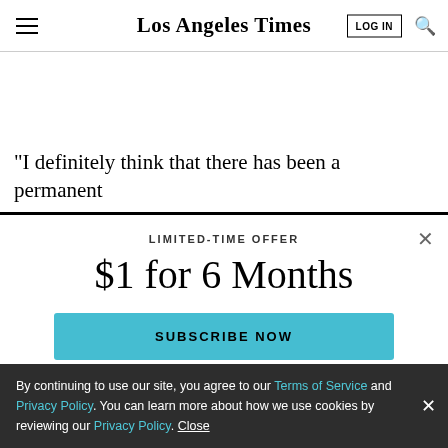Los Angeles Times
“I definitely think that there has been a permanent
$1 for 6 Months
LIMITED-TIME OFFER
SUBSCRIBE NOW
By continuing to use our site, you agree to our Terms of Service and Privacy Policy. You can learn more about how we use cookies by reviewing our Privacy Policy. Close